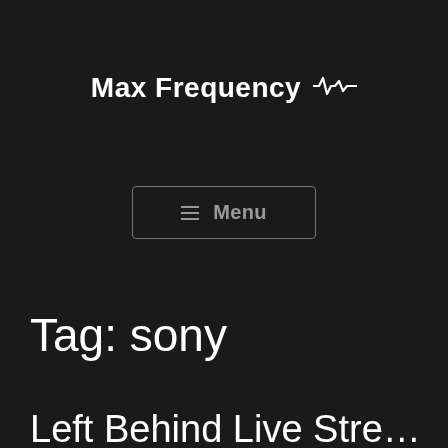Max Frequency
≡ Menu
Tag: sony
Left Behind Live Stre…